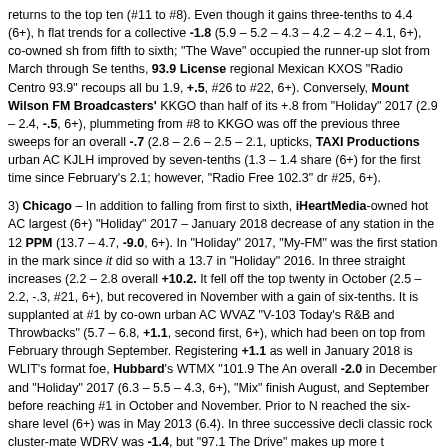returns to the top ten (#11 to #8). Even though it gains three-tenths to 4.4 (6+), h flat trends for a collective -1.8 (5.9 – 5.2 – 4.3 – 4.2 – 4.2 – 4.1, 6+), co-owned sh from fifth to sixth; "The Wave" occupied the runner-up slot from March through Se tenths, 93.9 License regional Mexican KXOS "Radio Centro 93.9" recoups all bu 1.9, +.5, #26 to #22, 6+). Conversely, Mount Wilson FM Broadcasters' KKGO than half of its +.8 from "Holiday" 2017 (2.9 – 2.4, -.5, 6+), plummeting from #8 to KKGO was off the previous three sweeps for an overall -.7 (2.8 – 2.6 – 2.5 – 2.1, upticks, TAXI Productions urban AC KJLH improved by seven-tenths (1.3 – 1.4 share (6+) for the first time since February's 2.1; however, "Radio Free 102.3" dr #25, 6+).
3) Chicago – In addition to falling from first to sixth, iHeartMedia-owned hot AC largest (6+) "Holiday" 2017 – January 2018 decrease of any station in the 12 PPM (13.7 – 4.7, -9.0, 6+). In "Holiday" 2017, "My-FM" was the first station in the mark since it did so with a 13.7 in "Holiday" 2016. In three straight increases (2.2 – 2.8 overall +10.2. It fell off the top twenty in October (2.5 – 2.2, -.3, #21, 6+), but recovered in November with a gain of six-tenths. It is supplanted at #1 by co-own urban AC WVAZ "V-103 Today's R&B and Throwbacks" (5.7 – 6.8, +1.1, second first, 6+), which had been on top from February through September. Registering +1.1 as well in January 2018 is WLIT's format foe, Hubbard's WTMX "101.9 The An overall -2.0 in December and "Holiday" 2017 (6.3 – 5.5 – 4.3, 6+), "Mix" finish August, and September before reaching #1 in October and November. Prior to N reached the six-share level (6+) was in May 2013 (6.4). In three successive decli classic rock cluster-mate WDRV was -1.4, but "97.1 The Drive" makes up more t
[Figure (logo): Logo/icon image showing radio or media related symbols]
and returns to the top ten (#15 to #9, 6+). It is tied f